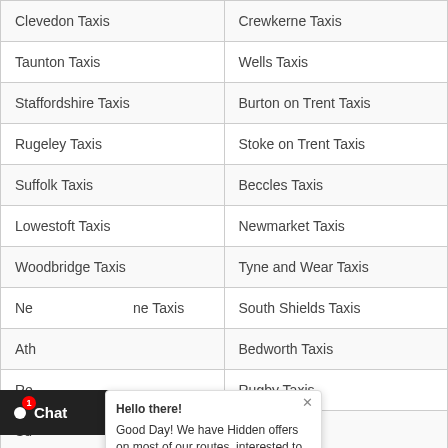| Clevedon Taxis | Crewkerne Taxis |
| Taunton Taxis | Wells Taxis |
| Staffordshire Taxis | Burton on Trent Taxis |
| Rugeley Taxis | Stoke on Trent Taxis |
| Suffolk Taxis | Beccles Taxis |
| Lowestoft Taxis | Newmarket Taxis |
| Woodbridge Taxis | Tyne and Wear Taxis |
| Newcastle upon Tyne Taxis | South Shields Taxis |
| Atherstone Taxis | Bedworth Taxis |
| Redditch Taxis | Rugby Taxis |
| Sutton Coldfield Taxis | Witton Taxis |
| Stourbridge Taxis | West Bromwich Taxis |
| Burrage Hill Taxis | Chichester Taxis |